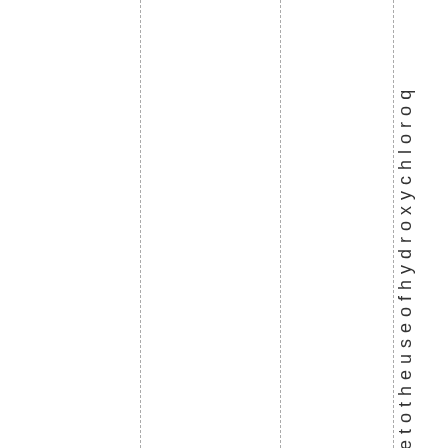e t o t h e u s e o f h y d r o x y c h l o r o q